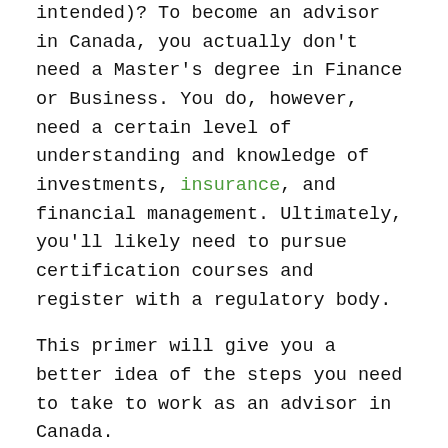intended)? To become an advisor in Canada, you actually don't need a Master's degree in Finance or Business. You do, however, need a certain level of understanding and knowledge of investments, insurance, and financial management. Ultimately, you'll likely need to pursue certification courses and register with a regulatory body.
This primer will give you a better idea of the steps you need to take to work as an advisor in Canada.
What is a financial advisor?
In a nutshell, financial advisors give advice on managing your money, reaching your financial goals, and preparing for potential risks or financial blows. Debt management,